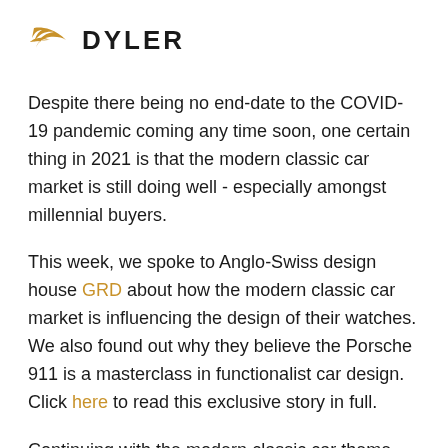[Figure (logo): Dyler logo: golden wing/arrow icon on the left, bold uppercase text DYLER on the right]
Despite there being no end-date to the COVID-19 pandemic coming any time soon, one certain thing in 2021 is that the modern classic car market is still doing well - especially amongst millennial buyers.
This week, we spoke to Anglo-Swiss design house GRD about how the modern classic car market is influencing the design of their watches. We also found out why they believe the Porsche 911 is a masterclass in functionalist car design. Click here to read this exclusive story in full.
Continuing with the modern classic car theme, we have selected five of our modern classic cars from January...